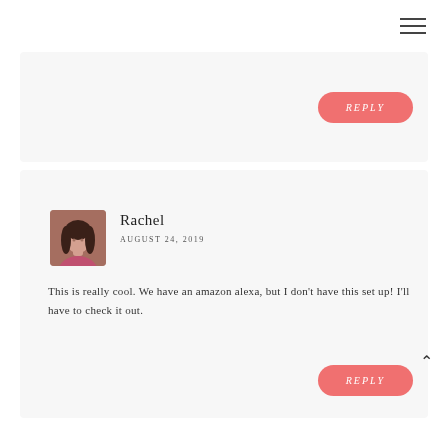[Figure (other): Hamburger menu icon (three horizontal lines) in top right corner]
REPLY
[Figure (photo): Profile photo of Rachel, a woman with dark hair wearing a pink top]
Rachel
August 24, 2019
This is really cool. We have an amazon alexa, but I don't have this set up! I'll have to check it out.
REPLY